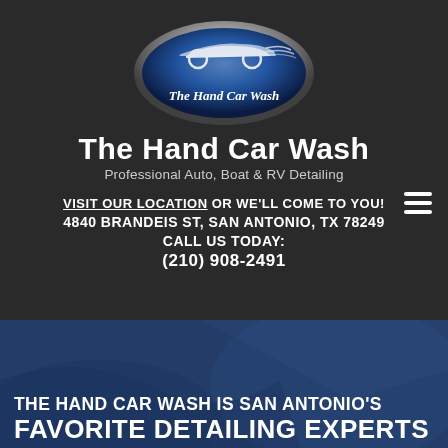[Figure (logo): Oval blue glossy logo with a car illustration and text 'The Hand Car Wash']
The Hand Car Wash
Professional Auto, Boat & RV Detailing
VISIT OUR LOCATION OR WE'LL COME TO YOU! 4840 BRANDEIS ST, SAN ANTONIO, TX 78249 CALL US TODAY: (210) 908-2491
[Figure (photo): Blue-tinted background photo of a car being washed/detailed]
THE HAND CAR WASH IS SAN ANTONIO'S FAVORITE DETAILING EXPERTS